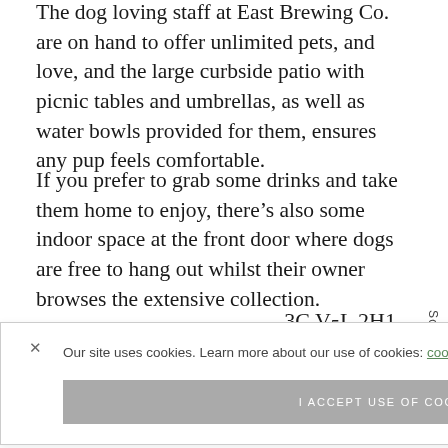The dog loving staff at East Brewing Co. are on hand to offer unlimited pets, and love, and the large curbside patio with picnic tables and umbrellas, as well as water bowls provided for them, ensures any pup feels comfortable.
If you prefer to grab some drinks and take them home to enjoy, there's also some indoor space at the front door where dogs are free to hang out whilst their owner browses the extensive collection.
3C V5L 2H1
Our site uses cookies. Learn more about our use of cookies: cookie policy
I ACCEPT USE OF COOKIES
Scroll To Top
This popular spot in the heart of Port Moody is as